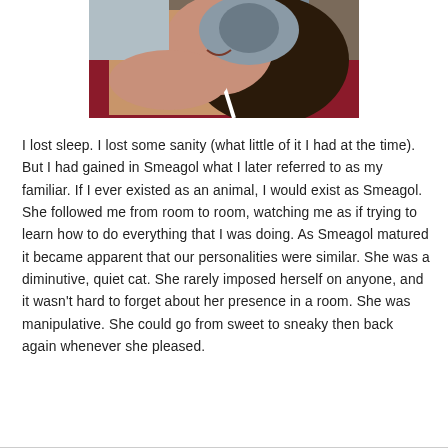[Figure (photo): A woman with dark curly hair smiling and holding a gray cat, lying on a red surface, photographed close-up.]
I lost sleep. I lost some sanity (what little of it I had at the time). But I had gained in Smeagol what I later referred to as my familiar. If I ever existed as an animal, I would exist as Smeagol. She followed me from room to room, watching me as if trying to learn how to do everything that I was doing. As Smeagol matured it became apparent that our personalities were similar. She was a diminutive, quiet cat. She rarely imposed herself on anyone, and it wasn't hard to forget about her presence in a room. She was manipulative. She could go from sweet to sneaky then back again whenever she pleased.